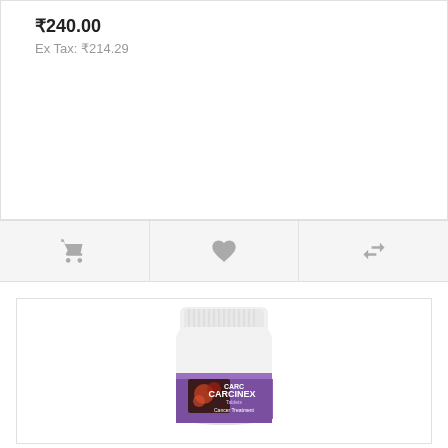₹240.00
Ex Tax: ₹214.29
[Figure (photo): A white plastic bottle of CARCINEX Tablets for Cancer Treatment, with a purple label showing product information and an image of cells]
CARCINEX Tablets Cancer Treatment